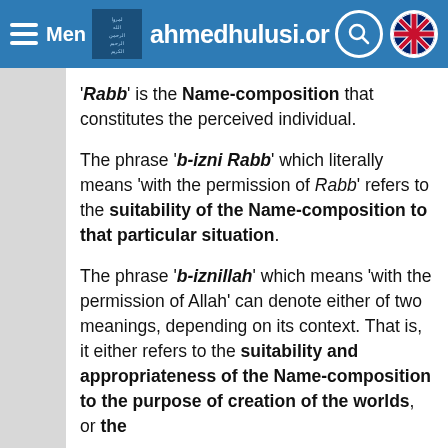Menu | ahmedhulusi.or
'Rabb' is the Name-composition that constitutes the perceived individual.
The phrase 'b-izni Rabb' which literally means 'with the permission of Rabb' refers to the suitability of the Name-composition to that particular situation.
The phrase 'b-iznillah' which means 'with the permission of Allah' can denote either of two meanings, depending on its context. That is, it either refers to the suitability and appropriateness of the Name-composition to the purpose of creation of the worlds, or the